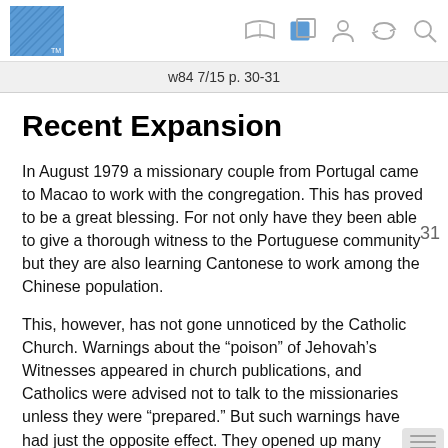w84 7/15 p. 30-31
Recent Expansion
In August 1979 a missionary couple from Portugal came to Macao to work with the congregation. This has proved to be a great blessing. For not only have they been able to give a thorough witness to the Portuguese community but they are also learning Cantonese to work among the Chinese population.
This, however, has not gone unnoticed by the Catholic Church. Warnings about the “poison” of Jehovah’s Witnesses appeared in church publications, and Catholics were advised not to talk to the missionaries unless they were “prepared.” But such warnings have had just the opposite effect. They opened up many